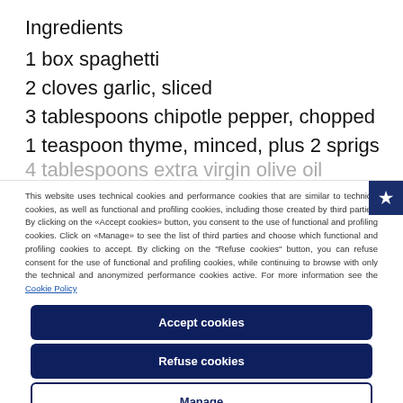Ingredients
1 box spaghetti
2 cloves garlic, sliced
3 tablespoons chipotle pepper, chopped
1 teaspoon thyme, minced, plus 2 sprigs
4 tablespoons extra virgin olive oil
This website uses technical cookies and performance cookies that are similar to technical cookies, as well as functional and profiling cookies, including those created by third parties. By clicking on the «Accept cookies» button, you consent to the use of functional and profiling cookies. Click on «Manage» to see the list of third parties and choose which functional and profiling cookies to accept. By clicking on the “Refuse cookies” button, you can refuse consent for the use of functional and profiling cookies, while continuing to browse with only the technical and anonymized performance cookies active. For more information see the Cookie Policy
Accept cookies
Refuse cookies
Manage